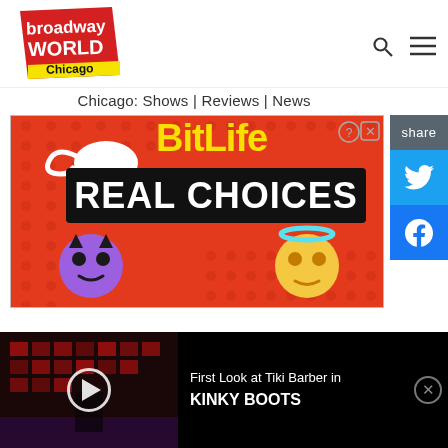[Figure (logo): Broadway World Chicago logo — red badge with yellow and white text, tilted]
Chicago: Shows | Reviews | News
[Figure (screenshot): BitLife advertisement: 'REAL CHOICES' on orange/red polka-dot background with devil emoji, angel emoji, and cartoon girl]
[Figure (screenshot): Video thumbnail: dark stage scene for Kinky Boots, with play button overlay. Caption: 'First Look at Tiki Barber in KINKY BOOTS']